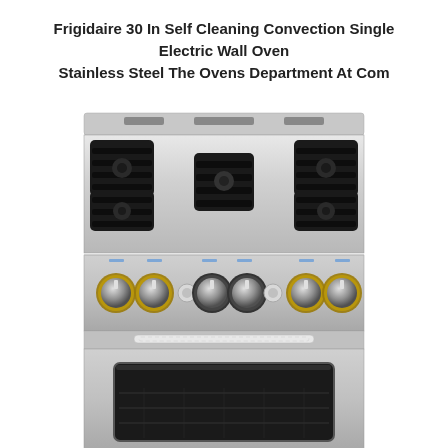Frigidaire 30 In Self Cleaning Convection Single Electric Wall Oven Stainless Steel The Ovens Department At Com
[Figure (photo): Front view of a stainless steel Frigidaire gas range/oven with six burners on top (black cast iron grates), six control knobs with gold/brass trim rings on the front panel, a drawer handle below the cooktop, and a large oven with dark glass window at the bottom.]